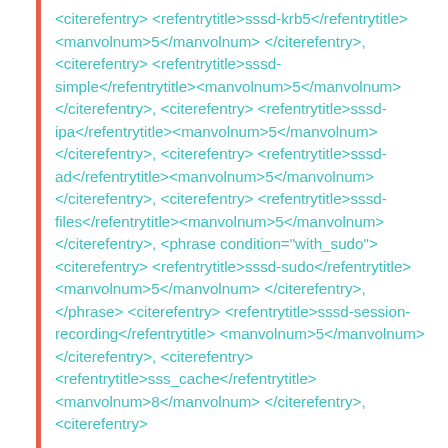<citerefentry> <refentrytitle>sssd-krb5</refentrytitle> <manvolnum>5</manvolnum> </citerefentry>, <citerefentry> <refentrytitle>sssd-simple</refentrytitle><manvolnum>5</manvolnum> </citerefentry>, <citerefentry> <refentrytitle>sssd-ipa</refentrytitle><manvolnum>5</manvolnum> </citerefentry>, <citerefentry> <refentrytitle>sssd-ad</refentrytitle><manvolnum>5</manvolnum> </citerefentry>, <citerefentry> <refentrytitle>sssd-files</refentrytitle><manvolnum>5</manvolnum> </citerefentry>, <phrase condition="with_sudo"> <citerefentry> <refentrytitle>sssd-sudo</refentrytitle> <manvolnum>5</manvolnum> </citerefentry>, </phrase> <citerefentry> <refentrytitle>sssd-session-recording</refentrytitle> <manvolnum>5</manvolnum> </citerefentry>, <citerefentry> <refentrytitle>sss_cache</refentrytitle> <manvolnum>8</manvolnum> </citerefentry>, <citerefentry>